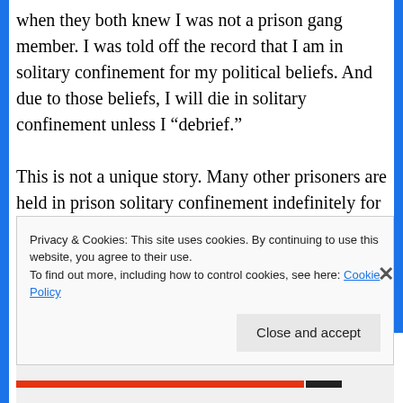when they both knew I was not a prison gang member. I was told off the record that I am in solitary confinement for my political beliefs. And due to those beliefs, I will die in solitary confinement unless I “debrief.”
This is not a unique story. Many other prisoners are held in prison solitary confinement indefinitely for not one offense for 10 to 40 years. We have wasted away here in solitary confinement while our families suffer the same psychological torture,
Privacy & Cookies: This site uses cookies. By continuing to use this website, you agree to their use.
To find out more, including how to control cookies, see here: Cookie Policy